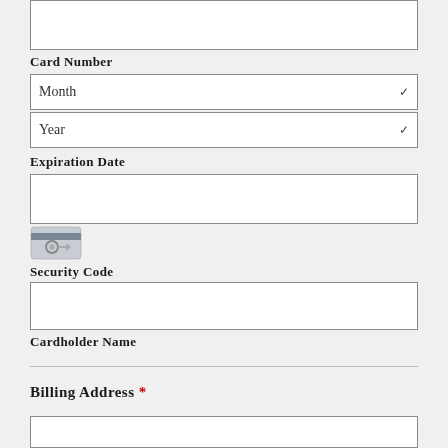[Figure (other): Input field for Card Number (top, partially visible)]
Card Number
[Figure (other): Month dropdown selector]
[Figure (other): Year dropdown selector]
Expiration Date
[Figure (other): Input field for Security Code]
[Figure (other): Credit card icon showing card with circle/key symbol]
Security Code
[Figure (other): Input field for Cardholder Name]
Cardholder Name
Billing Address *
[Figure (other): Input field at bottom (partially visible)]